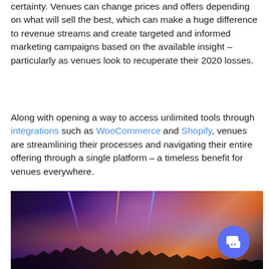certainty. Venues can change prices and offers depending on what will sell the best, which can make a huge difference to revenue streams and create targeted and informed marketing campaigns based on the available insight – particularly as venues look to recuperate their 2020 losses.
Along with opening a way to access unlimited tools through integrations such as WooCommerce and Shopify, venues are streamlining their processes and navigating their entire offering through a single platform – a timeless benefit for venues everywhere.
[Figure (photo): A concert venue scene with purple and orange stage lighting, crowd silhouettes visible at the bottom, dramatic spotlights shining from above. A blue circular chat button overlay is visible in the bottom right corner.]